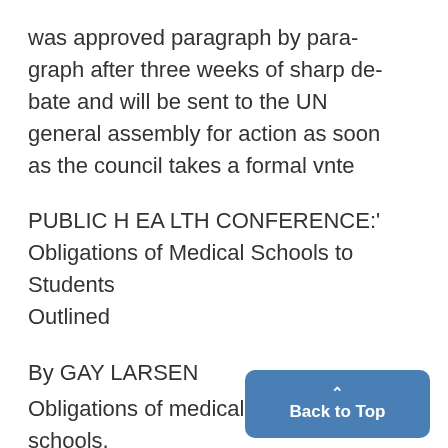was approved paragraph by paragraph after three weeks of sharp debate and will be sent to the UN general assembly for action as soon as the council takes a formal vnte
PUBLIC H EA LTH CONFERENCE:' Obligations of Medical Schools to Students Outlined
By GAY LARSEN
Obligations of medical schools, ticularly their preventive medic